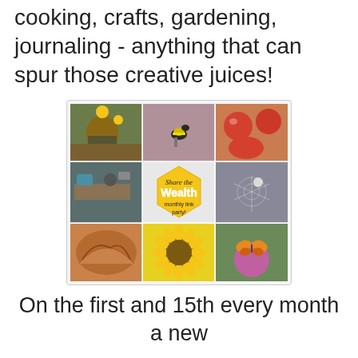cooking, crafts, gardening, journaling - anything that can spur those creative juices!
[Figure (photo): Share the Wealth monthly link party collage image with 6 photos: garden with sunflowers and brick kiln, yellow-black bird on branch, red apples cut open, outdoor kitchen/garden workspace, spider in web, bread loaf, sunflower close-up, butterfly on pink flower. Center hexagon badge reads 'Share the Wealth monthly link party!']
On the first and 15th every month a new